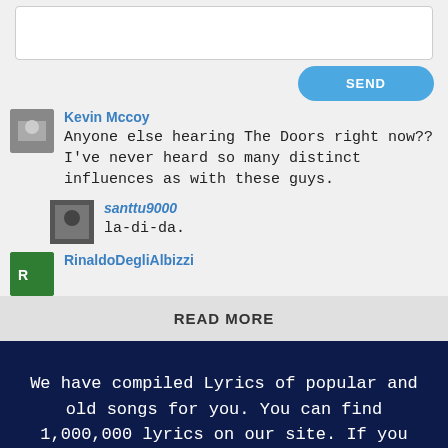[Figure (other): Text input textarea box (white, rounded border)]
SEND
Kevin Mccoy
Anyone else hearing The Doors right now?? I've never heard so many distinct influences as with these guys.
santtu9000
la-di-da.
RinaldoDegliAlbizzi
READ MORE
We have compiled Lyrics of popular and old songs for you. You can find 1,000,000 lyrics on our site. If you have any Lyrics that you want to be added, you can contact us.